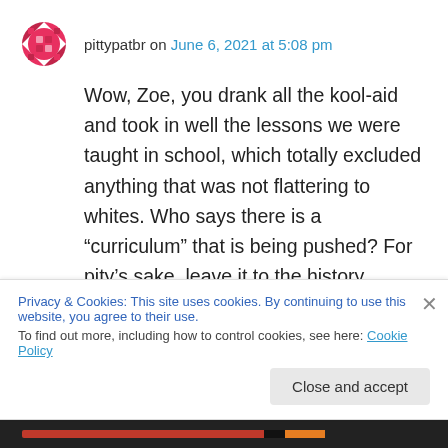pittypatbr on June 6, 2021 at 5:08 pm
Wow, Zoe, you drank all the kool-aid and took in well the lessons we were taught in school, which totally excluded anything that was not flattering to whites. Who says there is a “curriculum” that is being pushed? For pity’s sake, leave it to the history teachers and quit trying to micromanage the classrooms. Some will do a good job of teaching all sides and some will not – thus was it
Privacy & Cookies: This site uses cookies. By continuing to use this website, you agree to their use.
To find out more, including how to control cookies, see here: Cookie Policy